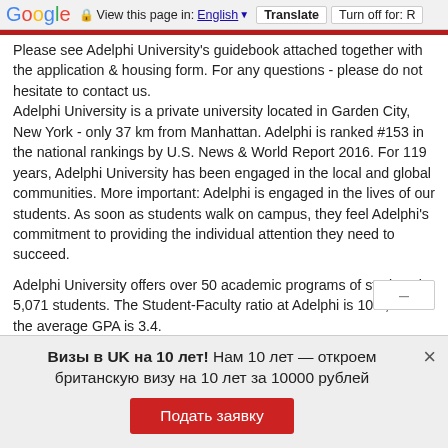Google  View this page in: English  Translate  Turn off for: R
Please see Adelphi University's guidebook attached together with the application & housing form. For any questions - please do not hesitate to contact us. Adelphi University is a private university located in Garden City, New York - only 37 km from Manhattan. Adelphi is ranked #153 in the national rankings by U.S. News & World Report 2016. For 119 years, Adelphi University has been engaged in the local and global communities. More important: Adelphi is engaged in the lives of our students. As soon as students walk on campus, they feel Adelphi's commitment to providing the individual attention they need to succeed.
Adelphi University offers over 50 academic programs of study to its 5,071 students. The Student-Faculty ratio at Adelphi is 10:1, and the average GPA is 3.4.
Визы в UK на 10 лет! Нам 10 лет — откроем британскую визу на 10 лет за 10000 рублей
Подать заявку